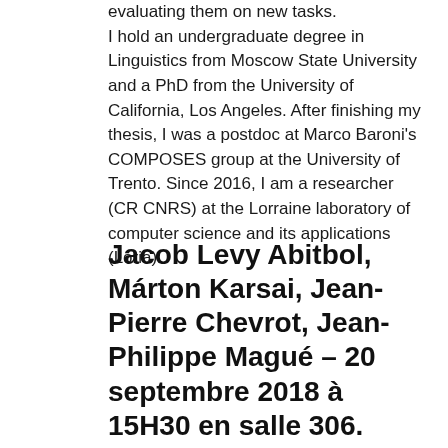evaluating them on new tasks. I hold an undergraduate degree in Linguistics from Moscow State University and a PhD from the University of California, Los Angeles. After finishing my thesis, I was a postdoc at Marco Baroni's COMPOSES group at the University of Trento. Since 2016, I am a researcher (CR CNRS) at the Lorraine laboratory of computer science and its applications (Loria).
Jacob Levy Abitbol, Márton Karsai, Jean-Pierre Chevrot, Jean-Philippe Magué – 20 septembre 2018 à 15H30 en salle 306.
...